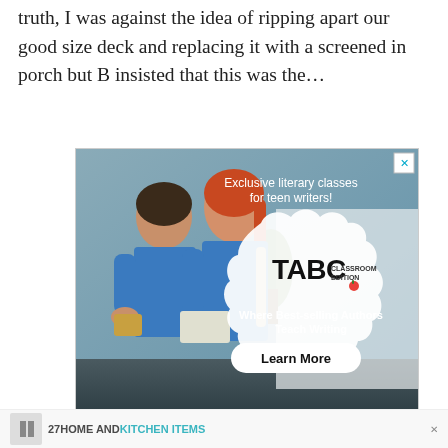truth, I was against the idea of ripping apart our good size deck and replacing it with a screened in porch but B insisted that this was the…
[Figure (screenshot): Advertisement for TABC Classroom Edition — showing two teenage girls in blue t-shirts reading books, with text 'Exclusive literary classes for teen writers!' and a 'Learn More' button]
READ MORE »
27 HOME AND KITCHEN ITEMS